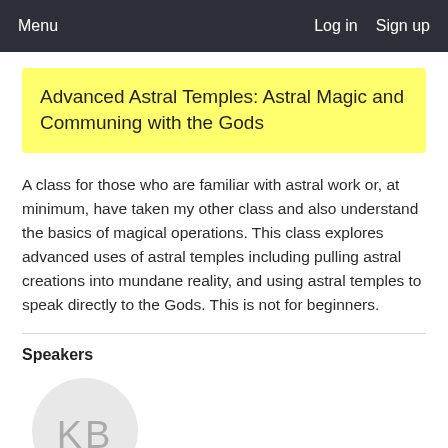Menu   Log in   Sign up
Advanced Astral Temples:  Astral Magic and Communing with the Gods
A class for those who are familiar with astral work or, at minimum, have taken my other class and also understand the basics of magical operations. This class explores advanced uses of astral temples including pulling astral creations into mundane reality, and using astral temples to speak directly to the Gods. This is not for beginners.
Speakers
[Figure (illustration): Avatar circle with initials KB in gray on light gray background]